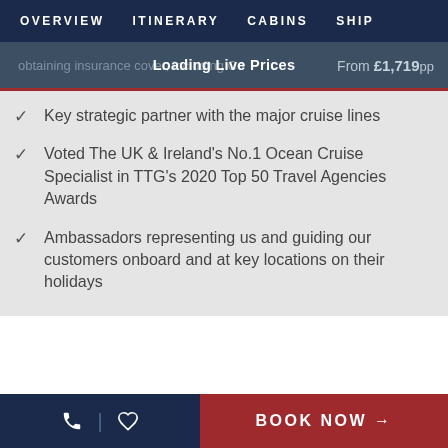OVERVIEW   ITINERARY   CABINS   SHIP
obtaining insurance cover, including Co
Loading Live Prices
From £1,719pp
Key strategic partner with the major cruise lines
Voted The UK & Ireland's No.1 Ocean Cruise Specialist in TTG's 2020 Top 50 Travel Agencies Awards
Ambassadors representing us and guiding our customers onboard and at key locations on their holidays
BOOK NOW →